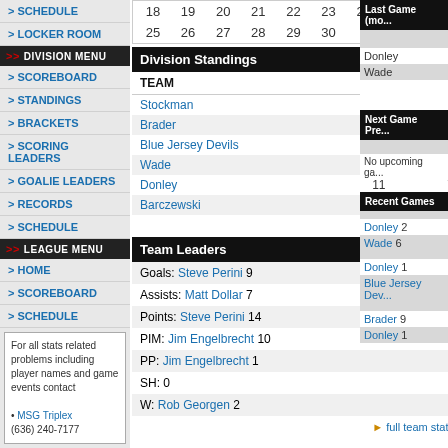|  |  |  |  |  |  |  |
| --- | --- | --- | --- | --- | --- | --- |
| 18 | 19 | 20 | 21 | 22 | 23 | 24 |
| 25 | 26 | 27 | 28 | 29 | 30 |  |
Division Standings
| TEAM | GP | PTS |
| --- | --- | --- |
| Stockman | 11 | 22 |
| Brader | 12 | 16 |
| Blue Jersey Devils | 12 | 12 |
| Wade | 12 | 7 |
| Donley | 11 | 7 |
| Barczewski | 11 | 7 |
full standings
Team Leaders
| Goals: Steve Perini 9 |
| Assists: Matt Dollar 7 |
| Points: Steve Perini 14 |
| PIM: Jim Engelbrecht 10 |
| PP: Jim Engelbrecht 1 |
| SH: 0 |
| W: Rob Georgen 2 |
full team stats
SCHEDULE
LOCKER ROOM
DIVISION MENU
SCOREBOARD
STANDINGS
BRACKETS
SCORING LEADERS
GOALIE LEADERS
RECORDS
SCHEDULE
LEAGUE MENU
HOME
SCOREBOARD
SCHEDULE
For all stats related problems including player names and game events contact
• MSG Triplex (636) 240-7177
Last Game (mo...
Donley
Wade
Next Game Pre...
No upcoming ga...
Recent Games
Donley 2
Wade 6
Donley 1
Blue Jersey Dev...
Brader 9
Donley 1